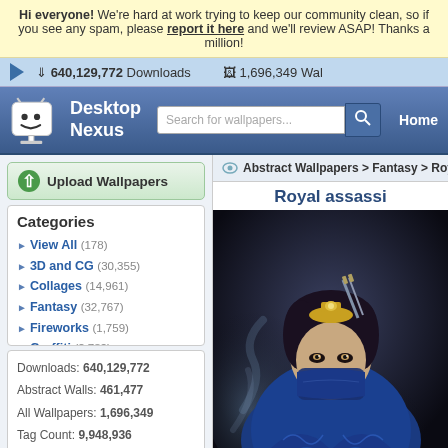Hi everyone! We're hard at work trying to keep our community clean, so if you see any spam, please report it here and we'll review ASAP! Thanks a million!
640,129,772 Downloads   1,696,349 Wal...
Desktop Nexus
Search for wallpapers...
Home
Upload Wallpapers
Abstract Wallpapers > Fantasy > Roya...
Categories
View All (178)
3D and CG (30,355)
Collages (14,961)
Fantasy (32,767)
Fireworks (1,759)
Graffiti (2,782)
Mind Teasers (4,803)
Photography (32,767)
Textures (31,124)
Other (32,767)
Downloads: 640,129,772
Abstract Walls: 461,477
All Wallpapers: 1,696,349
Tag Count: 9,948,936
Royal assassi...
[Figure (photo): Fantasy digital art of a royal assassin character — a woman wearing ornate blue robes, a gold crown/headpiece, and a face mask, with swords visible behind her against a smoky dark background.]